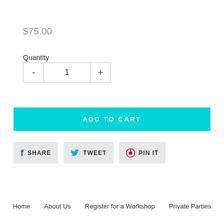$75.00
Quantity
- 1 +
ADD TO CART
SHARE
TWEET
PIN IT
Home  About Us  Register for a Workshop  Private Parties